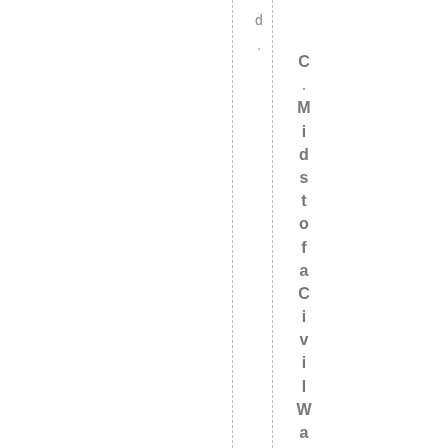d
.
C.Midstofa Civil War In the mids